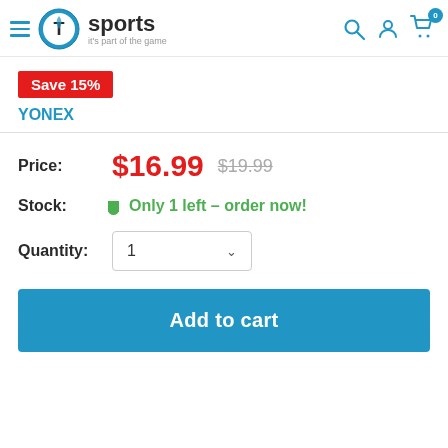T1sports - it's part of the game
Save 15%
YONEX
Price: $16.99 $19.99
Stock: Only 1 left - order now!
Quantity: 1
Add to cart